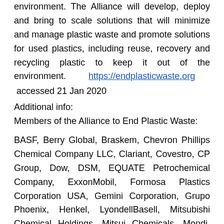environment. The Alliance will develop, deploy and bring to scale solutions that will minimize and manage plastic waste and promote solutions for used plastics, including reuse, recovery and recycling plastic to keep it out of the environment.    https://endplasticwaste.org accessed 21 Jan 2020
Additional info:
Members of the Alliance to End Plastic Waste:
BASF, Berry Global, Braskem, Chevron Phillips Chemical Company LLC, Clariant, Covestro, CP Group, Dow, DSM, EQUATE Petrochemical Company, ExxonMobil, Formosa Plastics Corporation USA, Gemini Corporation, Grupo Phoenix, Henkel, LyondellBasell, Mitsubishi Chemical Holdings, Mitsui Chemicals, Mondi, NOVA Chemicals, Novolex, OxyChem, PepsiCo, PolyOne, Procter & Gamble, Reliance Industries, SABIC, Sasol, Sealed Air Corporation,